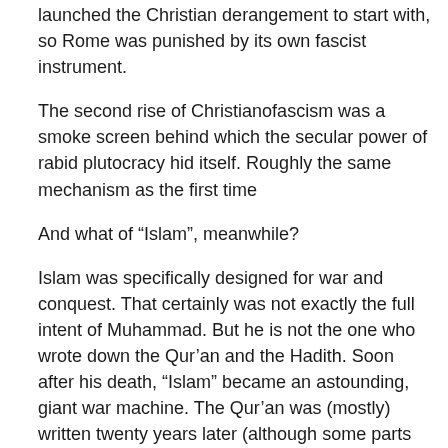launched the Christian derangement to start with, so Rome was punished by its own fascist instrument.
The second rise of Christianofascism was a smoke screen behind which the secular power of rabid plutocracy hid itself. Roughly the same mechanism as the first time
And what of “Islam”, meanwhile?
Islam was specifically designed for war and conquest. That certainly was not exactly the full intent of Muhammad. But he is not the one who wrote down the Qur’an and the Hadith. Soon after his death, “Islam” became an astounding, giant war machine. The Qur’an was (mostly) written twenty years later (although some parts are even more recent).
As I said countless times, that led to war between (self-